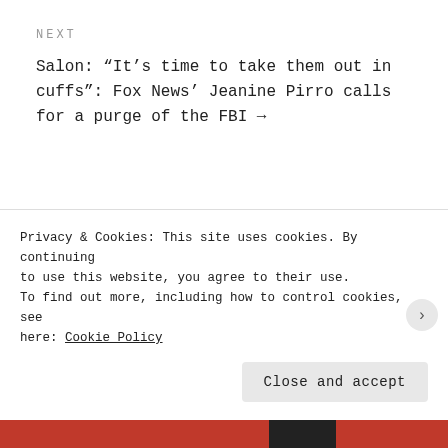NEXT
Salon: “It’s time to take them out in cuffs”: Fox News’ Jeanine Pirro calls for a purge of the FBI →
RECENT POSTS: THE WEEKLY NEWS
This Week In Stupid Conservative News: Joe Biden
Privacy & Cookies: This site uses cookies. By continuing to use this website, you agree to their use.
To find out more, including how to control cookies, see here: Cookie Policy
Close and accept